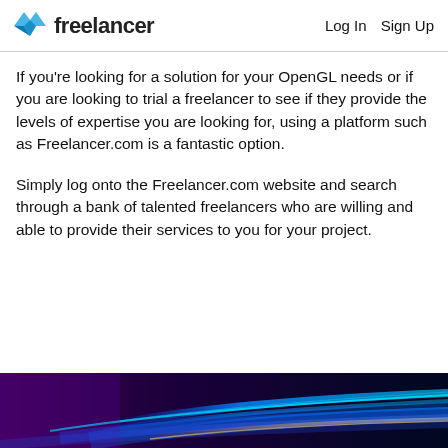freelancer  Log In  Sign Up
If you’re looking for a solution for your OpenGL needs or if you are looking to trial a freelancer to see if they provide the levels of expertise you are looking for, using a platform such as Freelancer.com is a fantastic option.
Simply log onto the Freelancer.com website and search through a bank of talented freelancers who are willing and able to provide their services to you for your project.
[Figure (illustration): Colorful abstract background with blue, purple, and orange light streaks on a dark background]